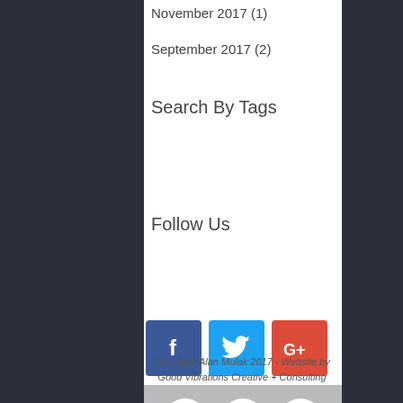November 2017 (1)
September 2017 (2)
Search By Tags
Follow Us
[Figure (infographic): Social media buttons: Facebook (blue), Twitter (light blue), Google+ (red)]
[Figure (infographic): Footer social icons (white on grey circles): Facebook, Instagram, Twitter; Back To Top fishing fly logo; copyright text]
Copyright Alan Mulak 2017 - Website by Good Vibrations Creative + Consulting